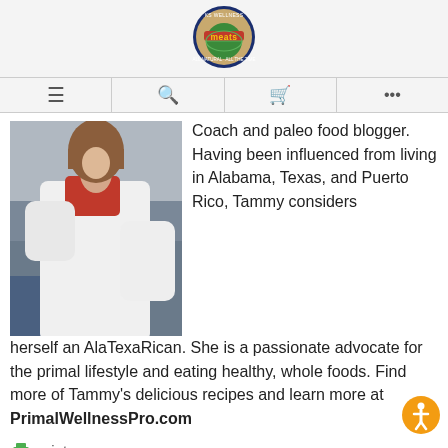[Figure (logo): KS Wellness Meats circular logo with globe and meat imagery]
[Figure (photo): Woman in white blazer and red top, photographed from behind/side, seated outdoors]
Coach and paleo food blogger. Having been influenced from living in Alabama, Texas, and Puerto Rico, Tammy considers herself an AlaTexaRican. She is a passionate advocate for the primal lifestyle and eating healthy, whole foods. Find more of Tammy's delicious recipes and learn more at PrimalWellnessPro.com